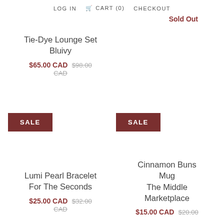LOG IN  CART (0)  CHECKOUT
Sold Out
Tie-Dye Lounge Set
Bluivy
$65.00 CAD $98.00 CAD
SALE
SALE
Lumi Pearl Bracelet For The Seconds
$25.00 CAD $32.00 CAD
Cinnamon Buns Mug
The Middle Marketplace
$15.00 CAD $20.00